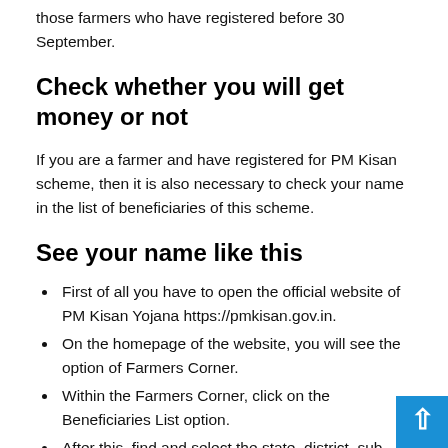those farmers who have registered before 30 September.
Check whether you will get money or not
If you are a farmer and have registered for PM Kisan scheme, then it is also necessary to check your name in the list of beneficiaries of this scheme.
See your name like this
First of all you have to open the official website of PM Kisan Yojana https://pmkisan.gov.in.
On the homepage of the website, you will see the option of Farmers Corner.
Within the Farmers Corner, click on the Beneficiaries List option.
After this, find and select the state, district, sub-district,